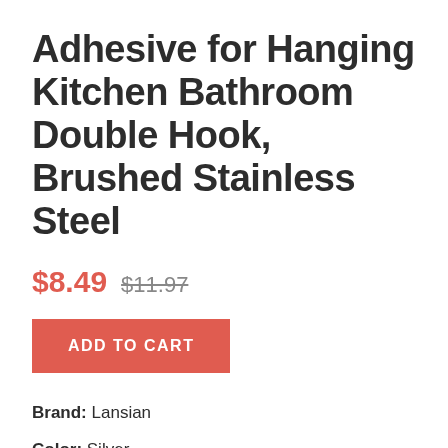Adhesive for Hanging Kitchen Bathroom Double Hook, Brushed Stainless Steel
$8.49  $11.97
ADD TO CART
Brand: Lansian
Color: Silver
Features:
STAINLESS STEEL & 3M ADHESIVE - Effectively withstands daily use and tarnishing. The 3M...